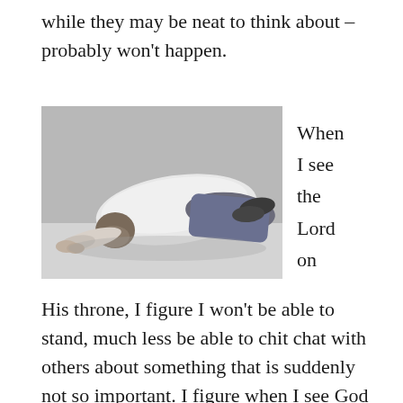while they may be neat to think about – probably won't happen.
[Figure (photo): Black and white photograph of a person prostrating in worship, lying face down on the ground with arms extended forward, wearing a white long-sleeve shirt and jeans.]
When I see the Lord on
His throne, I figure I won't be able to stand, much less be able to chit chat with others about something that is suddenly not so important. I figure when I see God exalted, I will fall down in awe and worship. What will you do?